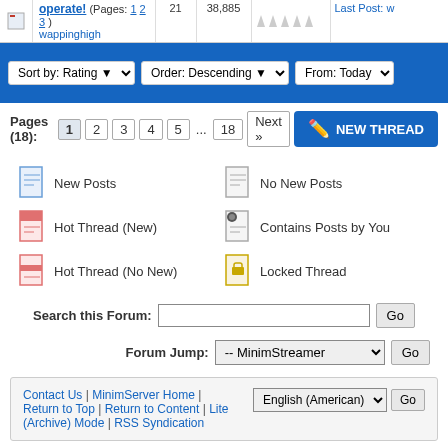operate! (Pages: 1 2 3) wappinghigh | 21 | 38,885 | Last Post: w
[Figure (screenshot): Forum toolbar with Sort by: Rating, Order: Descending, From: Today dropdowns on blue background]
Pages (18): 1 2 3 4 5 ... 18 Next » NEW THREAD
New Posts
No New Posts
Hot Thread (New)
Contains Posts by You
Hot Thread (No New)
Locked Thread
Search this Forum:
Forum Jump: -- MinimStreamer
Contact Us | MinimServer Home | Return to Top | Return to Content | Lite (Archive) Mode | RSS Syndication
English (American)
Powered By MyBB, © 2002-2022 MyBB Group.